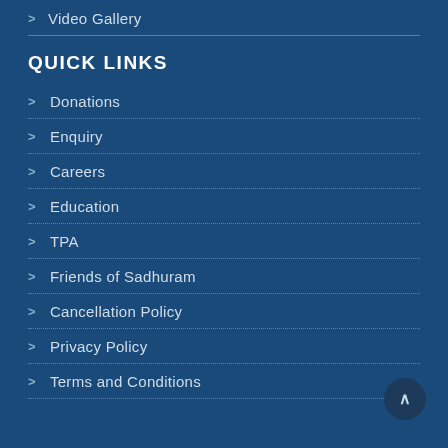> Video Gallery
QUICK LINKS
> Donations
> Enquiry
> Careers
> Education
> TPA
> Friends of Sadhuram
> Cancellation Policy
> Privacy Policy
> Terms and Conditions